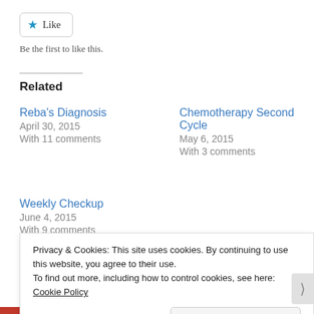[Figure (other): Like button with blue star icon and text 'Like']
Be the first to like this.
Related
Reba's Diagnosis
April 30, 2015
With 11 comments
Chemotherapy Second Cycle
May 6, 2015
With 3 comments
Weekly Checkup
June 4, 2015
With 9 comments
Privacy & Cookies: This site uses cookies. By continuing to use this website, you agree to their use.
To find out more, including how to control cookies, see here: Cookie Policy
Close and accept